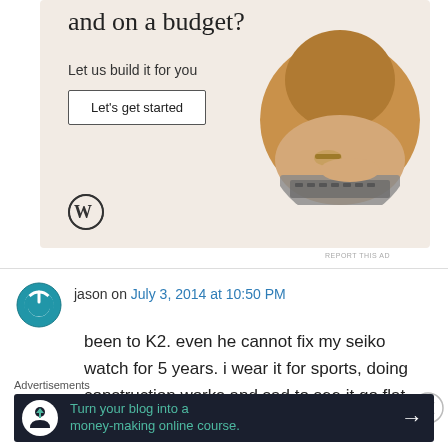[Figure (illustration): WordPress advertisement banner with beige background. Shows partial title 'and on a budget?', subtitle 'Let us build it for you', a 'Let's get started' button, WordPress logo, and a circular cropped photo of hands typing on a laptop.]
jason on July 3, 2014 at 10:50 PM
been to K2. even he cannot fix my seiko watch for 5 years. i wear it for sports, doing construction works and sad to see it go flat.
Advertisements
[Figure (illustration): Dark advertisement banner: 'Turn your blog into a money-making online course.' with arrow and logo icon.]